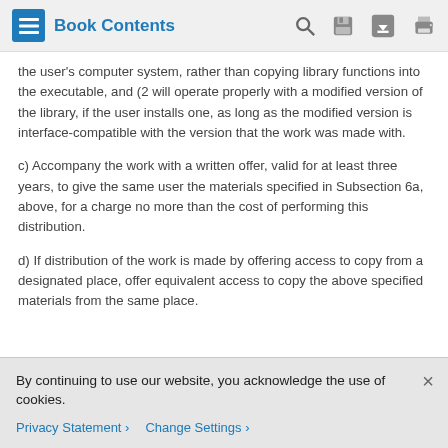Book Contents
the user's computer system, rather than copying library functions into the executable, and (2 will operate properly with a modified version of the library, if the user installs one, as long as the modified version is interface-compatible with the version that the work was made with.
c) Accompany the work with a written offer, valid for at least three years, to give the same user the materials specified in Subsection 6a, above, for a charge no more than the cost of performing this distribution.
d) If distribution of the work is made by offering access to copy from a designated place, offer equivalent access to copy the above specified materials from the same place.
By continuing to use our website, you acknowledge the use of cookies.
Privacy Statement › Change Settings ›